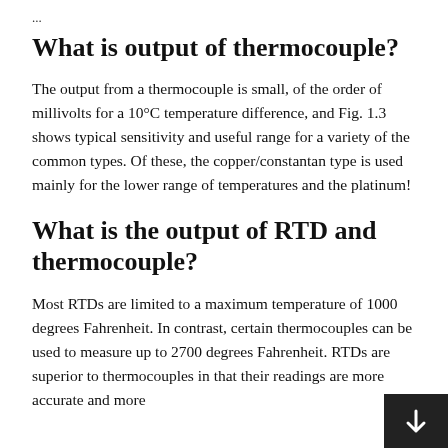...
What is output of thermocouple?
The output from a thermocouple is small, of the order of millivolts for a 10°C temperature difference, and Fig. 1.3 shows typical sensitivity and useful range for a variety of the common types. Of these, the copper/constantan type is used mainly for the lower range of temperatures and the platinum!
What is the output of RTD and thermocouple?
Most RTDs are limited to a maximum temperature of 1000 degrees Fahrenheit. In contrast, certain thermocouples can be used to measure up to 2700 degrees Fahrenheit. RTDs are superior to thermocouples in that their readings are more accurate and more repeatable.